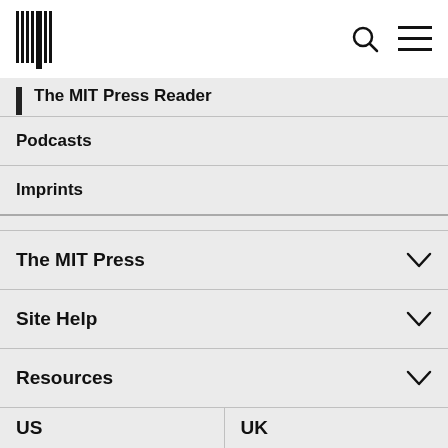[Figure (logo): MIT Press barcode-style vertical bars logo in black]
[Figure (other): Search icon (magnifying glass) and hamburger menu icon]
The MIT Press Reader
Podcasts
Imprints
The MIT Press
Site Help
Resources
Digital
US
UK